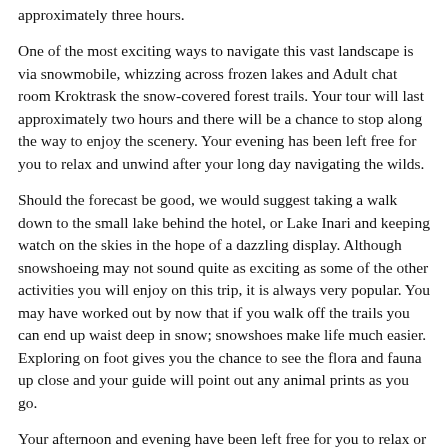approximately three hours.
One of the most exciting ways to navigate this vast landscape is via snowmobile, whizzing across frozen lakes and Adult chat room Kroktrask the snow-covered forest trails. Your tour will last approximately two hours and there will be a chance to stop along the way to enjoy the scenery. Your evening has been left free for you to relax and unwind after your long day navigating the wilds.
Should the forecast be good, we would suggest taking a walk down to the small lake behind the hotel, or Lake Inari and keeping watch on the skies in the hope of a dazzling display. Although snowshoeing may not sound quite as exciting as some of the other activities you will enjoy on this trip, it is always very popular. You may have worked out by now that if you walk off the trails you can end up waist deep in snow; snowshoes make life much easier. Exploring on foot gives you the chance to see the flora and fauna up close and your guide will point out any animal prints as you go.
Your afternoon and evening have been left free for you to relax or enjoy activities at your own pace. Snowshoes and cross-country skis are available to hire from the hotel, meaning you can take advantage of the numerous trails which surround the hotel and neighbouring forest land if you want to explore independently.
Many families take to a sledging slope and then simply enjoy time